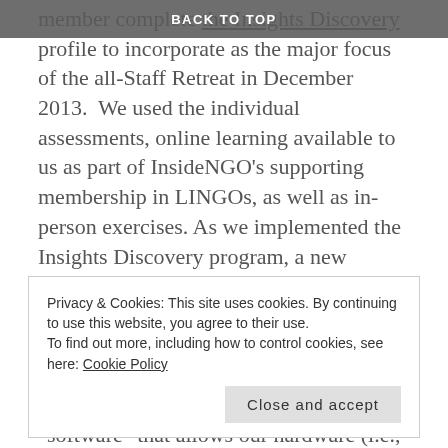BACK TO TOP
member complete the Insights Discovery profile to incorporate as the major focus of the all-Staff Retreat in December 2013.  We used the individual assessments, online learning available to us as part of InsideNGO’s supporting membership in LINGOs, as well as in-person exercises. As we implemented the Insights Discovery program, a new language, culture (and humor) began to emerge across InsideNGO,  leading to major benefits of a more effective teaming and partnering style across the organization. “Insights unlocked the “software” that allows our hardware (i.e., role/job descriptions) and wiring (i.e., reporting lines) to work even more effectively and release capacity we did not know we had,” observed Tom Dente,
Privacy & Cookies: This site uses cookies. By continuing to use this website, you agree to their use.
To find out more, including how to control cookies, see here: Cookie Policy
Close and accept